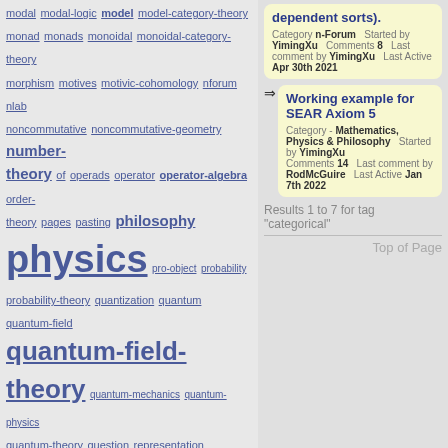modal modal-logic model model-category-theory monad monads monoidal monoidal-category-theory morphism motives motivic-cohomology nforum nlab noncommutative noncommutative-geometry number-theory of operads operator operator-algebra order-theory pages pasting philosophy physics pro-object probability probability-theory quantization quantum quantum-field quantum-field-theory quantum-mechanics quantum-physics quantum-theory question representation representation-theory riemannian-geometry scheme schemes set set-theory sheaf simplicial space spin-geometry stable-homotopy-theory string string-theory superalgebra supergeometry svg symplectic-geometry synthetic-differential-geometry terminology theory topology topos topos-theory type type-theory universal variational-calculus
Working example for SEAR Axiom 5 - Category n-Forum Started by YimingXu Comments 8 Last comment by YimingXu Last Active Apr 30th 2021
Working example for SEAR Axiom 5 Category - Mathematics, Physics & Philosophy Started by YimingXu Comments 14 Last comment by RodMcGuire Last Active Jan 7th 2022
Results 1 to 7 for tag "categorical"
Top of Page
Vanilla 1.1.10 is a product of Lussumo. More Information: Documentation, Community Support.